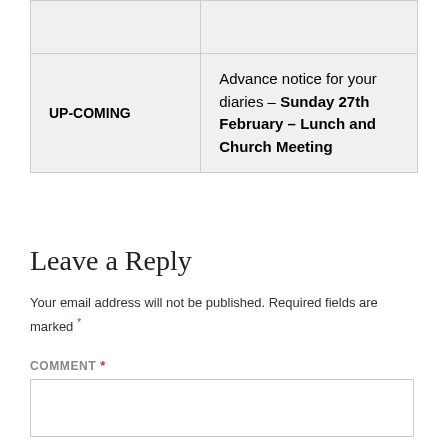|  |  |
| UP-COMING | Advance notice for your diaries – Sunday 27th February – Lunch and Church Meeting |
Leave a Reply
Your email address will not be published. Required fields are marked *
COMMENT *